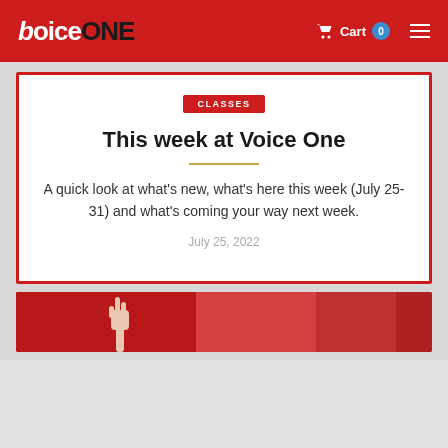VoiceOne — Cart 0
CLASSES
This week at Voice One
A quick look at what's new, what's here this week (July 25-31) and what's coming your way next week.
July 25, 2022
[Figure (photo): Partial view of a person raising their hand/arm against a red background, bottom of page preview card]